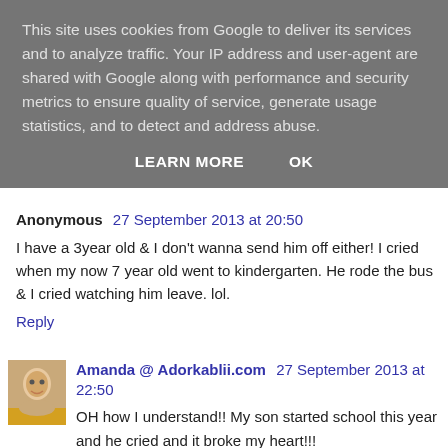This site uses cookies from Google to deliver its services and to analyze traffic. Your IP address and user-agent are shared with Google along with performance and security metrics to ensure quality of service, generate usage statistics, and to detect and address abuse.
LEARN MORE    OK
Anonymous  27 September 2013 at 20:50
I have a 3year old & I don't wanna send him off either! I cried when my now 7 year old went to kindergarten. He rode the bus & I cried watching him leave. lol.
Reply
Amanda @ Adorkablii.com  27 September 2013 at 22:50
OH how I understand!! My son started school this year and he cried and it broke my heart!!!
Reply